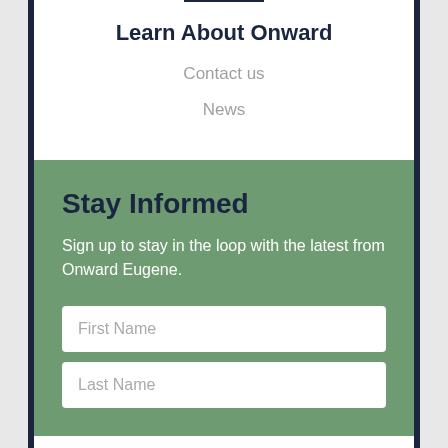Learn About Onward
Contact us
News
Stay Informed
Sign up to stay in the loop with the latest from Onward Eugene.
First Name
Last Name